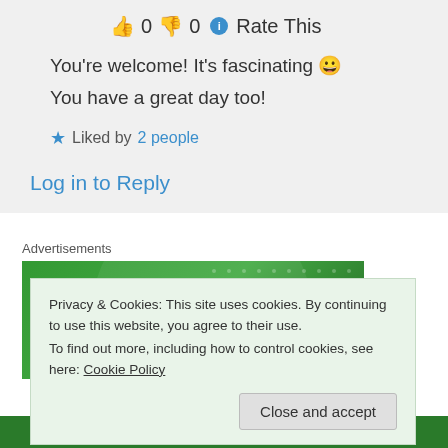👍 0 👎 0 ℹ Rate This
You're welcome! It's fascinating 😀
You have a great day too!
★ Liked by 2 people
Log in to Reply
Advertisements
[Figure (logo): Jetpack advertisement banner with green background and Jetpack logo]
Privacy & Cookies: This site uses cookies. By continuing to use this website, you agree to their use.
To find out more, including how to control cookies, see here: Cookie Policy
Close and accept
Back up your site